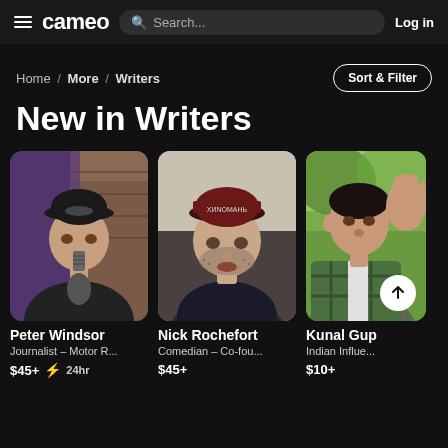[Figure (screenshot): Cameo website navigation bar with hamburger menu, cameo logo, search bar, and Log in button]
Home / More / Writers
Sort & Filter
New in Writers
[Figure (photo): Peter Windsor wearing a Jetcraft cap, speaking into a microphone in front of a brick background]
Peter Windsor
Journalist – Motor R...
$45+  ⚡ 24hr
[Figure (photo): Nick Rochefort wearing a dark red cap with text, looking at the camera]
Nick Rochefort
Comedian – Co-fou...
$45+
[Figure (photo): Kunal Gup (partially visible), Indian Influencer, raising hand, wearing green plaid shirt outdoors]
Kunal Gup
Indian Influe...
$10+